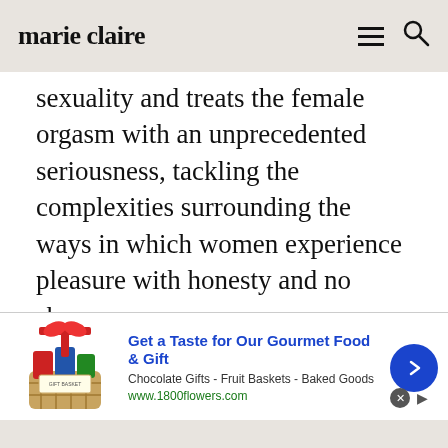marie claire
sexuality and treats the female orgasm with an unprecedented seriousness, tackling the complexities surrounding the ways in which women experience pleasure with honesty and no shame.
[Figure (photo): Close-up photo of a woman's face (eyes and forehead visible), blurred crowd background]
[Figure (photo): Advertisement banner: Get a Taste for Our Gourmet Food & Gift - Chocolate Gifts - Fruit Baskets - Baked Goods - www.1800flowers.com, with gift basket image and blue arrow button]